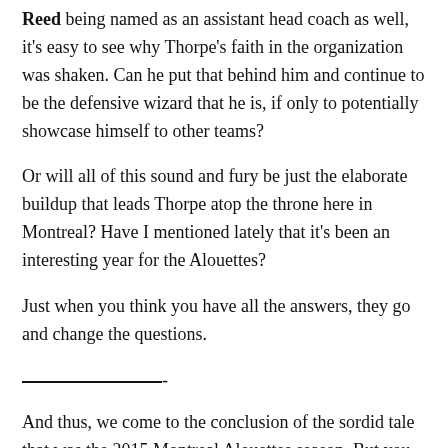Reed being named as an assistant head coach as well, it's easy to see why Thorpe's faith in the organization was shaken. Can he put that behind him and continue to be the defensive wizard that he is, if only to potentially showcase himself to other teams?
Or will all of this sound and fury be just the elaborate buildup that leads Thorpe atop the throne here in Montreal? Have I mentioned lately that it's been an interesting year for the Alouettes?
Just when you think you have all the answers, they go and change the questions.
——————————-
And thus, we come to the conclusion of the sordid tale that was the 2015 Montreal Alouettes season. But you good